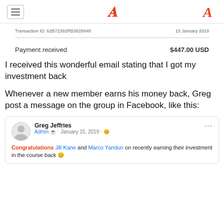Transaction ID: 62B72392RB3828948   15 January 2019
Payment received   $447.00 USD
I received this wonderful email stating that I got my investment back
Whenever a new member earns his money back, Greg post a message on the group in Facebook, like this:
[Figure (screenshot): Facebook post by Greg Jeffries (Admin), January 15, 2019. Text: 'Congratulations Jill Kane and Marco Yandun on recently earning their investment in the course back 😊']